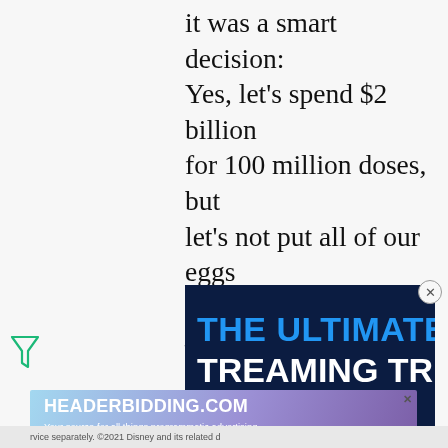it was a smart decision: Yes, let's spend $2 billion for 100 million doses, but let's not put all of our eggs into one basket. Pfizer — as they have stressed — wasn't even officially part of Operation Warp Speed.
[Figure (screenshot): Advertisement banner for a streaming service bundle showing 'THE ULTIMATE STREAMING TRICK' in bold text with Hulu, Disney+, and ESPN+ logos on a dark navy background]
[Figure (screenshot): Advertisement for HEADERBIDDING.COM with tagline 'Your source for all things programmatic advertising.' on a blue-purple gradient background]
rvice separately. ©2021 Disney and its related d